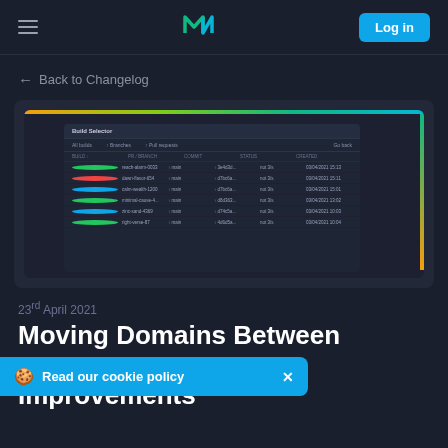Navigation bar with hamburger menu, logo, and Log in button
← Back to Changelog
[Figure (screenshot): Screenshot of a dark-themed Build Selector UI panel showing a table with columns for build name, branches, pull requests, and commit info, with multiple rows of builds listed.]
23rd April 2021
Moving Domains Between ent Improvements
Read our cookie policy